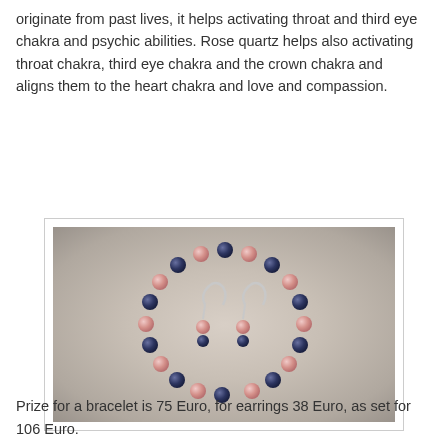originate from past lives, it helps activating throat and third eye chakra and psychic abilities. Rose quartz helps also activating throat chakra, third eye chakra and the crown chakra and aligns them to the heart chakra and love and compassion.
[Figure (photo): A beaded bracelet made of alternating rose quartz (pink) and lapis lazuli (dark blue) beads arranged in a circle, with a pair of silver earrings featuring the same beads placed in the center, photographed on a light fabric background.]
Prize for a bracelet is 75 Euro, for earrings 38 Euro, as set for 106 Euro.